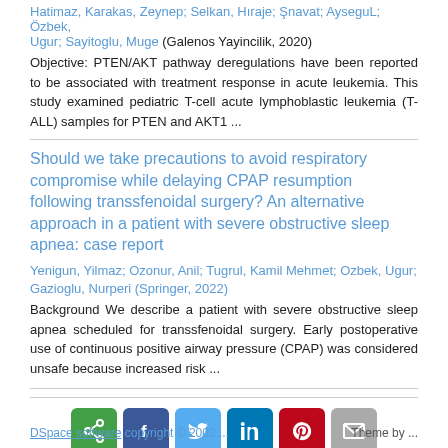Hatimaz, Karakas, Zeynep; Selkan, Hıraje; Şnavat; AysegüL; Özbek, Ugur; Sayitoglu, Muge (Galenos Yayincilik, 2020)
Objective: PTEN/AKT pathway deregulations have been reported to be associated with treatment response in acute leukemia. This study examined pediatric T-cell acute lymphoblastic leukemia (T-ALL) samples for PTEN and AKT1 ...
Should we take precautions to avoid respiratory compromise while delaying CPAP resumption following transsfenoidal surgery? An alternative approach in a patient with severe obstructive sleep apnea: case report
Yenigun, Yilmaz; Ozonur, Anil; Tugrul, Kamil Mehmet; Ozbek, Ugur; Gazioglu, Nurperi (Springer, 2022)
Background We describe a patient with severe obstructive sleep apnea scheduled for transsfenoidal surgery. Early postoperative use of continuous positive airway pressure (CPAP) was considered unsafe because increased risk ...
[Figure (infographic): Social sharing buttons: share (green), Facebook (dark blue), Twitter (light blue), LinkedIn (blue), Pinterest (red), email (gray)]
DSpace software copyright © 2002 ... Theme by ...